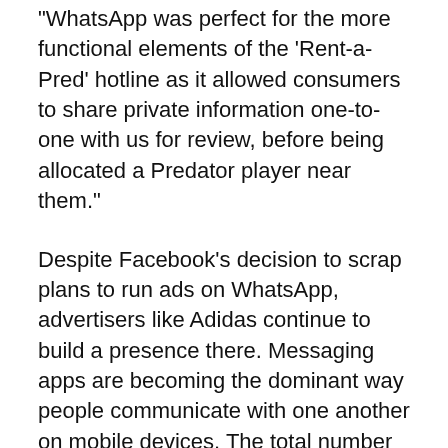“WhatsApp was perfect for the more functional elements of the ‘Rent-a-Pred’ hotline as it allowed consumers to share private information one-to-one with us for review, before being allocated a Predator player near them.”
Despite Facebook’s decision to scrap plans to run ads on WhatsApp, advertisers like Adidas continue to build a presence there. Messaging apps are becoming the dominant way people communicate with one another on mobile devices. The total number of messaging app users grew 12.1% in 2019 to reach 2.52 billion people, per eMarketer. That means 87.1% of smartphone users worldwide will use a mobile messaging app at least once per